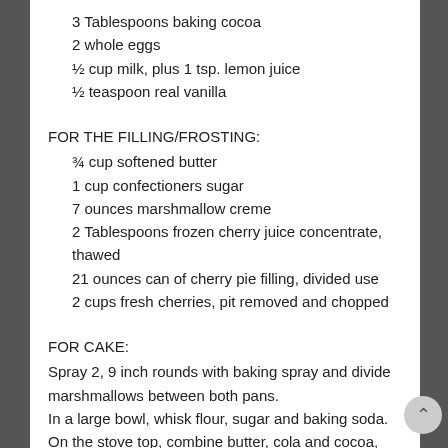3 Tablespoons baking cocoa
2 whole eggs
½ cup milk, plus 1 tsp. lemon juice
½ teaspoon real vanilla
FOR THE FILLING/FROSTING:
¾ cup softened butter
1 cup confectioners sugar
7 ounces marshmallow creme
2 Tablespoons frozen cherry juice concentrate, thawed
21 ounces can of cherry pie filling, divided use
2 cups fresh cherries, pit removed and chopped
FOR CAKE:
Spray 2, 9 inch rounds with baking spray and divide marshmallows between both pans.
In a large bowl, whisk flour, sugar and baking soda.
On the stove top, combine butter, cola and cocoa, bringing just to a boil. Add into flour mixture and